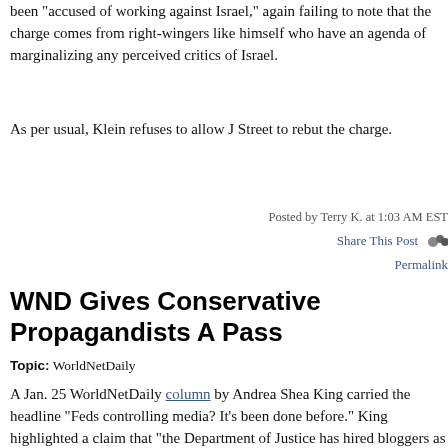been "accused of working against Israel," again failing to note that the charge comes from right-wingers like himself who have an agenda of marginalizing any perceived critics of Israel.
As per usual, Klein refuses to allow J Street to rebut the charge.
Posted by Terry K. at 1:03 AM EST
Share This Post
Permalink
WND Gives Conservative Propagandists A Pass
Topic: WorldNetDaily
A Jan. 25 WorldNetDaily column by Andrea Shea King carried the headline "Feds controlling media? It's been done before." King highlighted a claim that "the Department of Justice has hired bloggers as propagandists and sock puppets," likening it to the 1940s "Operation Mockingbird" as an example of "behind-the-scenes media manipulation."
Unmentioned by King were examples of "media manipulation" under the Bush administration: